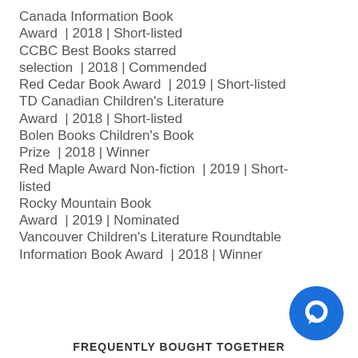Canada Information Book Award  | 2018 | Short-listed
CCBC Best Books starred selection  | 2018 | Commended
Red Cedar Book Award  | 2019 | Short-listed
TD Canadian Children's Literature Award  | 2018 | Short-listed
Bolen Books Children's Book Prize  | 2018 | Winner
Red Maple Award Non-fiction  | 2019 | Short-listed
Rocky Mountain Book Award  | 2019 | Nominated
Vancouver Children's Literature Roundtable Information Book Award  | 2018 | Winner
FREQUENTLY BOUGHT TOGETHER